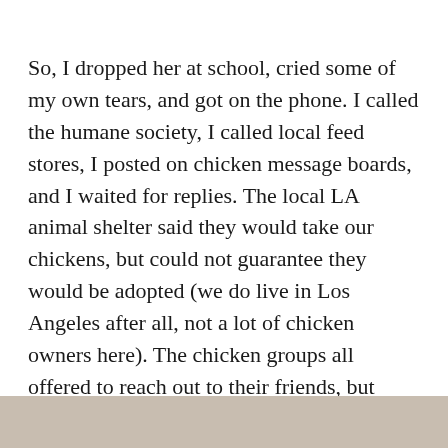So, I dropped her at school, cried some of my own tears, and got on the phone. I called the humane society, I called local feed stores, I posted on chicken message boards, and I waited for replies. The local LA animal shelter said they would take our chickens, but could not guarantee they would be adopted (we do live in Los Angeles after all, not a lot of chicken owners here). The chicken groups all offered to reach out to their friends, but most people who want chickens around here already have them, and introducing a new flock is a fraught situation, as anyone who has ever owned chickens would understand. Then, when I had just about given up hope and was picturing another night of nerves and
morning of blood and gore, I got a return call.
[Figure (photo): Bottom portion of image, partially visible, appears to be a light tan/beige background scene.]